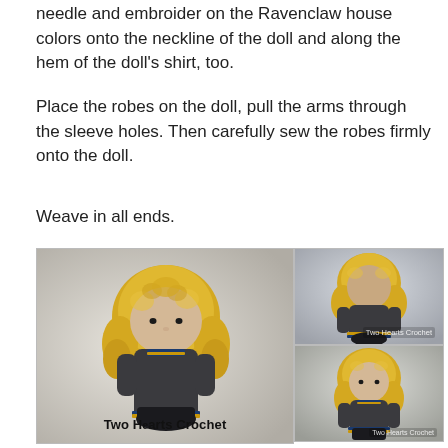needle and embroider on the Ravenclaw house colors onto the neckline of the doll and along the hem of the doll's shirt, too.
Place the robes on the doll, pull the arms through the sleeve holes. Then carefully sew the robes firmly onto the doll.
Weave in all ends.
[Figure (photo): Three photos of a crocheted Ravenclaw doll (likely Luna Lovegood) with long yellow/blonde hair, dressed in dark grey robes with blue and gold trim. Left photo is larger showing front view with 'Two Hearts Crochet' caption. Top right shows back/side view with Two Hearts Crochet watermark. Bottom right shows another front view with Two Hearts Crochet watermark.]